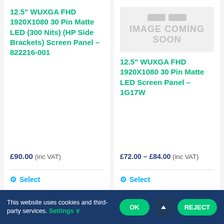[Figure (other): Image coming soon placeholder for second product card]
12.5" WUXGA FHD 1920X1080 30 Pin Matte LED (300 Nits) (HP Side Brackets) Screen Panel – 822216-001
£90.00 (inc VAT)
Select
12.5" WUXGA FHD 1920X1080 30 Pin Matte LED Screen Panel – 1G17W
£72.00 – £84.00 (inc VAT)
Select
This website uses cookies and third-party services. Settings
OK
REJECT